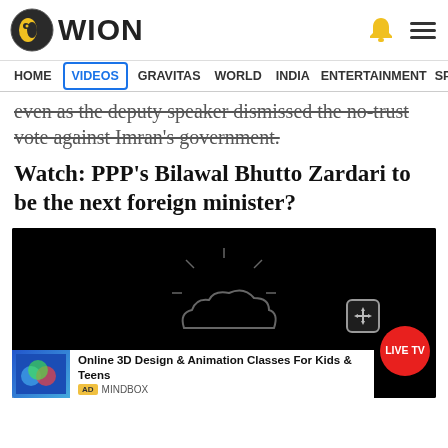WION
HOME | VIDEOS | GRAVITAS | WORLD | INDIA | ENTERTAINMENT | SPORTS
even as the deputy speaker dismissed the no-trust vote against Imran's government.
Watch: PPP's Bilawal Bhutto Zardari to be the next foreign minister?
[Figure (screenshot): Video player showing dark screen with a faint cloud/sun outline graphic in center. Move cursor icon visible. Red LIVE TV button at bottom right. Ad overlay at bottom showing Online 3D Design & Animation Classes For Kids & Teens by MINDBOX.]